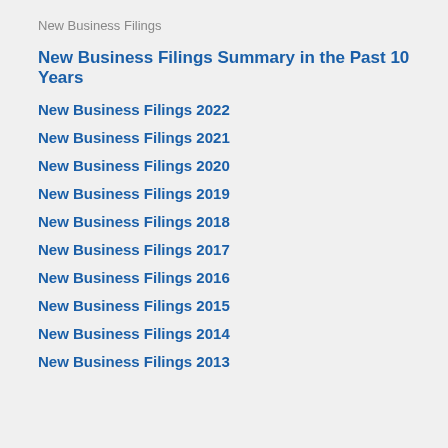New Business Filings
New Business Filings Summary in the Past 10 Years
New Business Filings 2022
New Business Filings 2021
New Business Filings 2020
New Business Filings 2019
New Business Filings 2018
New Business Filings 2017
New Business Filings 2016
New Business Filings 2015
New Business Filings 2014
New Business Filings 2013